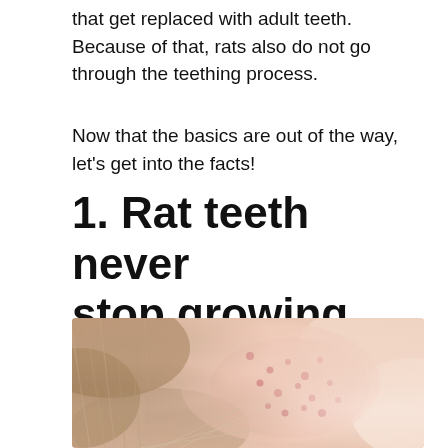that get replaced with adult teeth. Because of that, rats also do not go through the teething process.
Now that the basics are out of the way, let's get into the facts!
1. Rat teeth never stop growing
[Figure (photo): Close-up macro photograph of a rat's skin and fur area, showing pink skin with small reddish spots and light-colored fur bristles.]